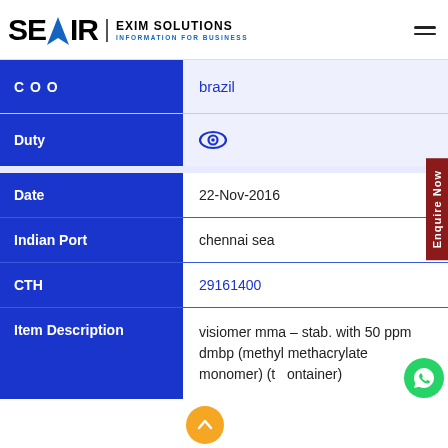SEAIR EXIM SOLUTIONS - INFORMATION FOR BUSINESS
| Field | Value |
| --- | --- |
| COO | brazil |
| Duty | (eye icon - login required) |
| Field | Value |
| --- | --- |
| Date | 22-Nov-2016 |
| Indian Port | chennai sea |
| CTH | 29161400 |
| Item Description | visiomer mma - stab. with 50 ppm dmbp (methyl methacrylate monomer) (t...ontainer) |